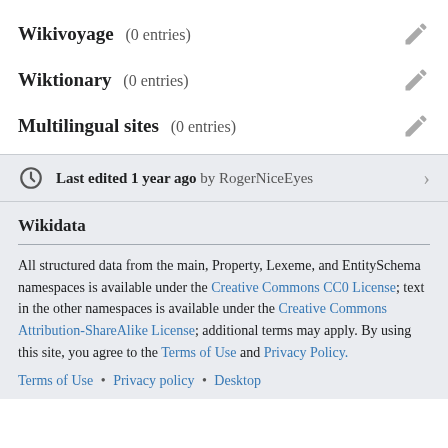Wikivoyage (0 entries)
Wiktionary (0 entries)
Multilingual sites (0 entries)
Last edited 1 year ago by RogerNiceEyes
Wikidata
All structured data from the main, Property, Lexeme, and EntitySchema namespaces is available under the Creative Commons CC0 License; text in the other namespaces is available under the Creative Commons Attribution-ShareAlike License; additional terms may apply. By using this site, you agree to the Terms of Use and Privacy Policy.
Terms of Use • Privacy policy • Desktop